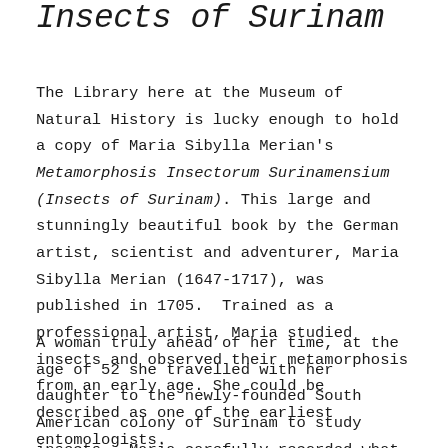Insects of Surinam
The Library here at the Museum of Natural History is lucky enough to hold a copy of Maria Sibylla Merian's Metamorphosis Insectorum Surinamensium (Insects of Surinam). This large and stunningly beautiful book by the German artist, scientist and adventurer, Maria Sibylla Merian (1647-1717), was published in 1705. Trained as a professional artist, Maria studied insects and observed their metamorphosis from an early age. She could be described as one of the earliest entomologists.
A woman truly ahead of her time, at the age of 52 she travelled with her daughter to the newly-founded South American colony of Surinam to study insects. Maria carefully recorded what she found in the most